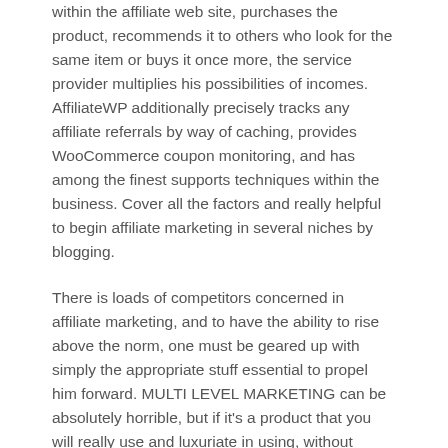within the affiliate web site, purchases the product, recommends it to others who look for the same item or buys it once more, the service provider multiplies his possibilities of incomes. AffiliateWP additionally precisely tracks any affiliate referrals by way of caching, provides WooCommerce coupon monitoring, and has among the finest supports techniques within the business. Cover all the factors and really helpful to begin affiliate marketing in several niches by blogging.
There is loads of competitors concerned in affiliate marketing, and to have the ability to rise above the norm, one must be geared up with simply the appropriate stuff essential to propel him forward. MULTI LEVEL MARKETING can be absolutely horrible, but if it's a product that you will really use and luxuriate in using, without destroying your own pockets, then marketing it should come simply and naturally. The merchant sees affiliate marketing in the present day as the prospect to